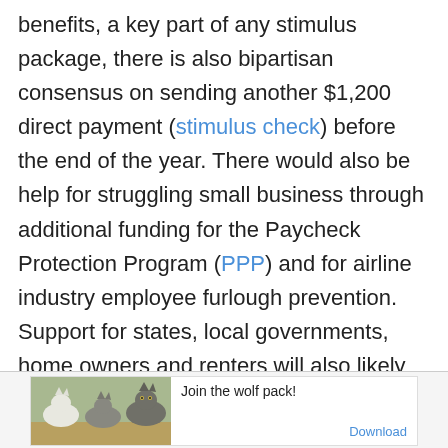benefits, a key part of any stimulus package, there is also bipartisan consensus on sending another $1,200 direct payment (stimulus check) before the end of the year. There would also be help for struggling small business through additional funding for the Paycheck Protection Program (PPP) and for airline industry employee furlough prevention. Support for states, local governments, home owners and renters will also likely be part of any new stimulus package.
[Figure (other): Advertisement banner showing wolves with text 'Join the wolf pack!' and a Download link]